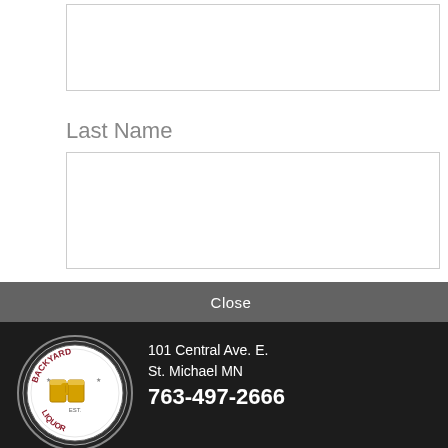Last Name
[Figure (screenshot): A popup advertisement overlay for Backyard Liquor store. Contains a gray 'Close' bar at top, followed by a black section with the Backyard Liquor logo (circular badge with two beer mugs), address '101 Central Ave. E. St. Michael MN', phone '763-497-2666', a group photo of staff with 'Locally owned and operated' text, a dark red hours section showing 'Open: Mon.-Sat. 10am-10pm Sunday 11am-6pm', and a black bottom bar with 'backyardliquor.com' and 'Follow us on Facebook'.]
SUBSCRIBE
backyardliquor.com
Follow us on Facebook